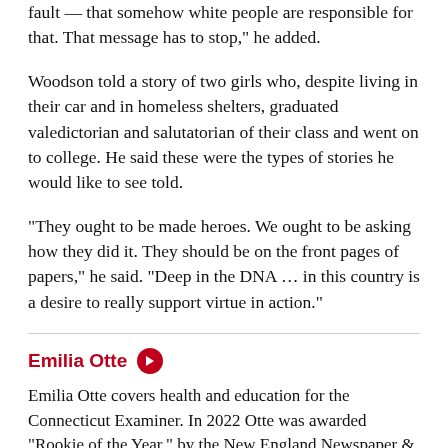fault — that somehow white people are responsible for that. That message has to stop," he added.
Woodson told a story of two girls who, despite living in their car and in homeless shelters, graduated valedictorian and salutatorian of their class and went on to college. He said these were the types of stories he would like to see told.
“They ought to be made heroes. We ought to be asking how they did it. They should be on the front pages of papers,” he said. “Deep in the DNA … in this country is a desire to really support virtue in action.”
Emilia Otte
Emilia Otte covers health and education for the Connecticut Examiner. In 2022 Otte was awarded "Rookie of the Year," by the New England Newspaper & Press